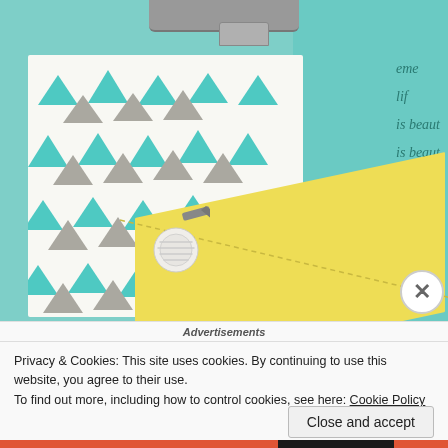[Figure (photo): Close-up photo of quilting fabric and a seam ripper tool on a sewing machine. White fabric with teal and gray triangle pattern is visible, along with yellow fabric and teal patterned fabric on the right side. A sewing machine foot is visible at the top.]
Advertisements
Privacy & Cookies: This site uses cookies. By continuing to use this website, you agree to their use.
To find out more, including how to control cookies, see here: Cookie Policy
Close and accept